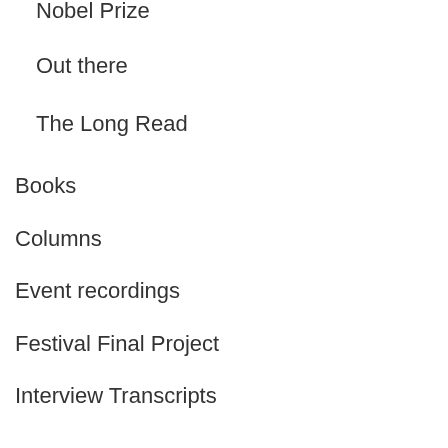Nobel Prize
Out there
The Long Read
Books
Columns
Event recordings
Festival Final Project
Interview Transcripts
Interviews
News
Region
Africa
Asia
Australasia